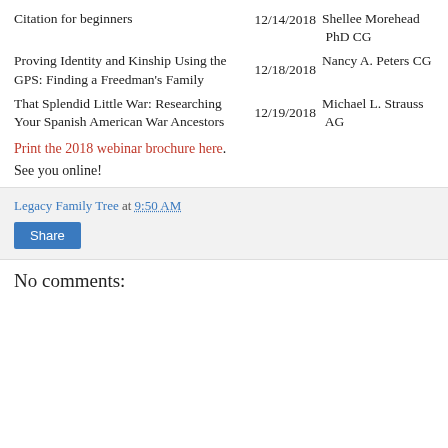Citation for beginners  12/14/2018  Shellee Morehead PhD CG
Proving Identity and Kinship Using the GPS: Finding a Freedman's Family  12/18/2018  Nancy A. Peters CG
That Splendid Little War: Researching Your Spanish American War Ancestors  12/19/2018  Michael L. Strauss AG
Print the 2018 webinar brochure here.
See you online!
Legacy Family Tree at 9:50 AM
Share
No comments: